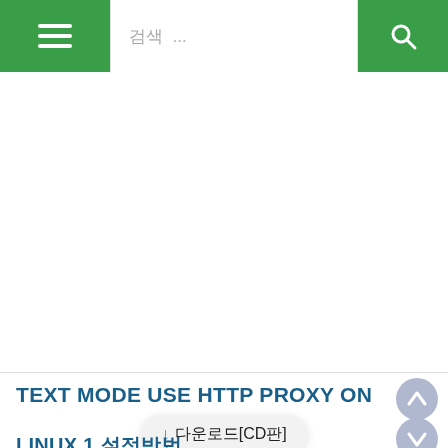☰  검색 ...  🔍
TEXT MODE USE HTTP PROXY ON
[Figure (other): Floating download button with Korean text 다운로드[CD판] and downward arrow]
LINUX 1 설정방법